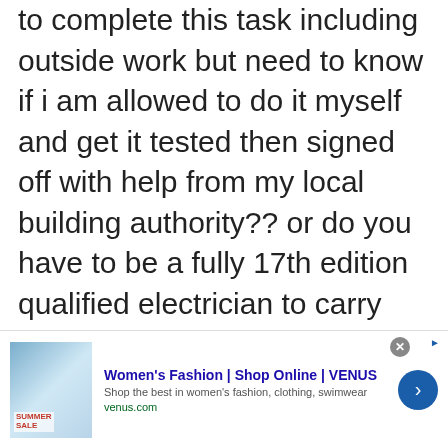to complete this task including outside work but need to know if i am allowed to do it myself and get it tested then signed off with help from my local building authority?? or do you have to be a fully 17th edition qualified electrician to carry out the proposed work?? can anyone advise or point me in the right direction please :D
[Figure (infographic): Advertisement banner for Women's Fashion | Shop Online | VENUS with thumbnail image, title, description, venus.com URL, close button, and arrow button]